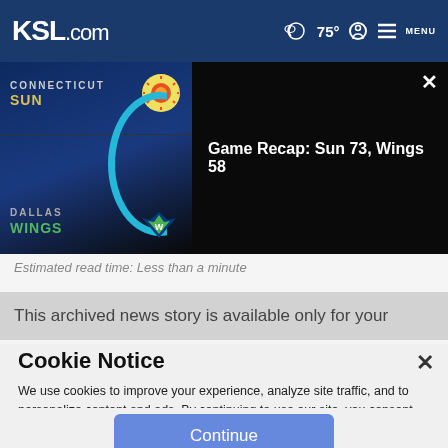KSL.com — 75° MENU
[Figure (screenshot): Game recap banner showing Connecticut Sun vs Dallas Wings matchup. Left side shows team logos and names with a blue arc graphic element. Right side shows dark background with text: Game Recap: Sun 73, Wings 58. Close X button top right.]
Estimated read time: Less than a minute
This archived news story is available only for your
Cookie Notice
We use cookies to improve your experience, analyze site traffic, and to personalize content and ads. By continuing to use our site, you consent to our use of cookies. Please visit our Terms of Use and Privacy Policy for more information.
Continue